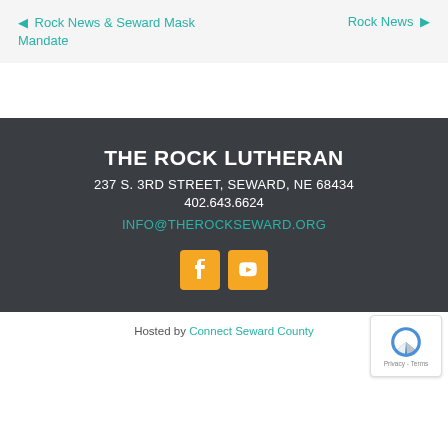◀ Rock News & Seward Mask Mandate
Rock News ▶
THE ROCK LUTHERAN
237 S. 3RD STREET, SEWARD, NE 68434
402.643.6624
INFO@THEROCKSEWARD.ORG
[Figure (logo): Facebook and YouTube social media icon buttons in orange square buttons]
Hosted by Connect Seward County